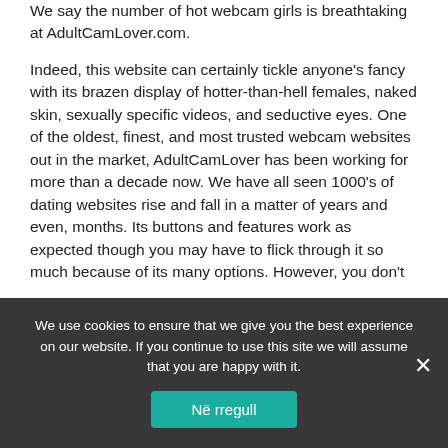We say the number of hot webcam girls is breathtaking at AdultCamLover.com.
Indeed, this website can certainly tickle anyone's fancy with its brazen display of hotter-than-hell females, naked skin, sexually specific videos, and seductive eyes. One of the oldest, finest, and most trusted webcam websites out in the market, AdultCamLover has been working for more than a decade now. We have all seen 1000's of dating websites rise and fall in a matter of years and even, months. Its buttons and features work as expected though you may have to flick through it so much because of its many options. However, you don't
We use cookies to ensure that we give you the best experience on our website. If you continue to use this site we will assume that you are happy with it.
Në rregull